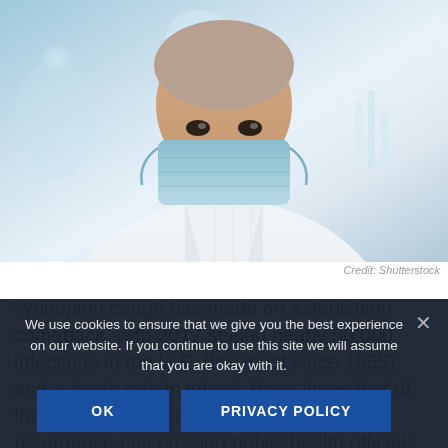[Figure (photo): A person wearing a surgical mask and white lab coat in a medical/laboratory setting, viewed from below/chest up. Blue and teal tones in background.]
Credit: Shutterstock
Whooping cough has made an astonishing comeback, with 2012 seeing nearly 50,000 infections in the U.S. (the most since 1955), and a death rate in infants three times that of the rest of the population. The dramatic resurgence has puzzled public health officials, who have pointed to the waning effectiveness of the current vaccine and growing
We use cookies to ensure that we give you the best experience on our website. If you continue to use this site we will assume that you are okay with it.